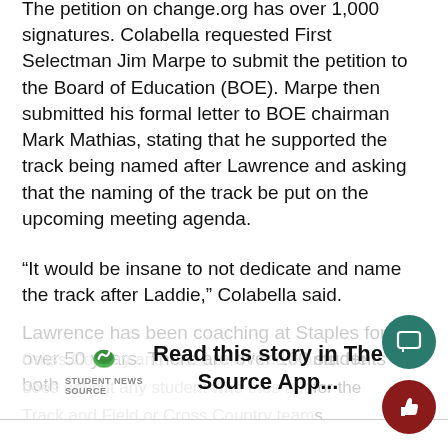The petition on change.org has over 1,000 signatures. Colabella requested First Selectman Jim Marpe to submit the petition to the Board of Education (BOE). Marpe then submitted his formal letter to BOE chairman Mark Mathias, stating that he supported the track being named after Lawrence and asking that the naming of the track be put on the upcoming meeting agenda.
“It would be insane to not dedicate and name the track after Laddie,” Colabella said.
Lawrence has been coaching at Staples for over 50 years. There are over 100 students on both Cross Country and Track and Field teams. He does not cut any student who tries out for the Track and Field or Cross Country teams.
[Figure (other): Read this story in The Source App overlay banner with Student News Source logo]